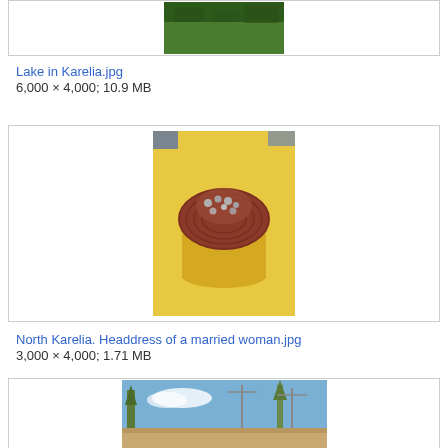[Figure (photo): Partial view of a lake/forest photo, cropped at top]
Lake in Karelia.jpg
6,000 × 4,000; 10.9 MB
[Figure (photo): Photo of a traditional North Karelian headdress of a married woman — a woven reddish basket-like headpiece with floral decoration, on a yellow surface]
North Karelia. Headdress of a married woman.jpg
3,000 × 4,000; 1.71 MB
[Figure (photo): Partial view of a street/road scene with trees and utility poles under blue sky, cropped at bottom]